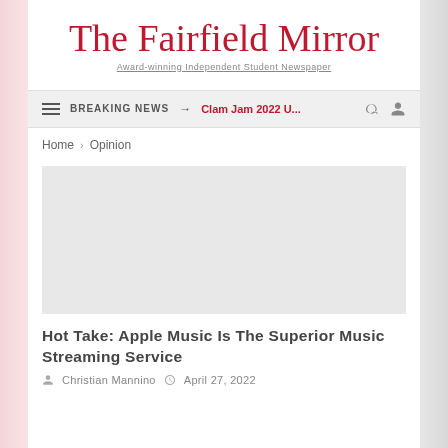The Fairfield Mirror
Award-winning Independent Student Newspaper
BREAKING NEWS → Clam Jam 2022 U...
Home > Opinion
[Figure (photo): Gray placeholder image for article]
Hot Take: Apple Music Is The Superior Music Streaming Service
Christian Mannino   April 27, 2022